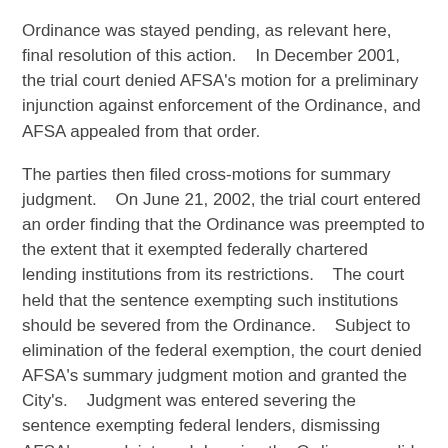Ordinance was stayed pending, as relevant here, final resolution of this action.    In December 2001, the trial court denied AFSA's motion for a preliminary injunction against enforcement of the Ordinance, and AFSA appealed from that order.
The parties then filed cross-motions for summary judgment.    On June 21, 2002, the trial court entered an order finding that the Ordinance was preempted to the extent that it exempted federally chartered lending institutions from its restrictions.    The court held that the sentence exempting such institutions should be severed from the Ordinance.    Subject to elimination of the federal exemption, the court denied AFSA's summary judgment motion and granted the City's.    Judgment was entered severing the sentence exempting federal lenders, dismissing AFSA's complaint, and deeming the Ordinance valid as modified.